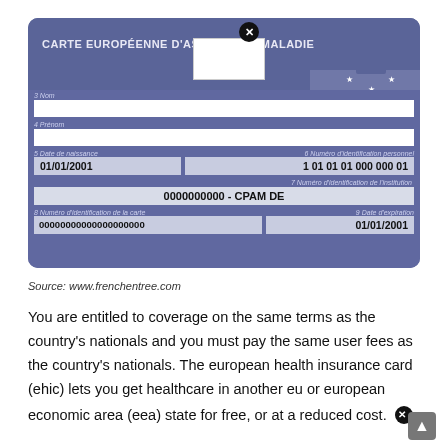[Figure (other): French European Health Insurance Card (Carte Européenne d'Assurance Maladie) with fields: Nom, Prénom, Date de naissance (01/01/2001), Numéro d'identification personnel (1 01 01 01 000 000 01), Numéro d'identification de l'institution (0000000000 - CPAM DE), Numéro d'identification de la carte (00000000000000000000), Date d'expiration (01/01/2001). FR country code shown with EU stars.]
Source: www.frenchentree.com
You are entitled to coverage on the same terms as the country's nationals and you must pay the same user fees as the country's nationals. The european health insurance card (ehic) lets you get healthcare in another eu or european economic area (eea) state for free, or at a reduced cost.